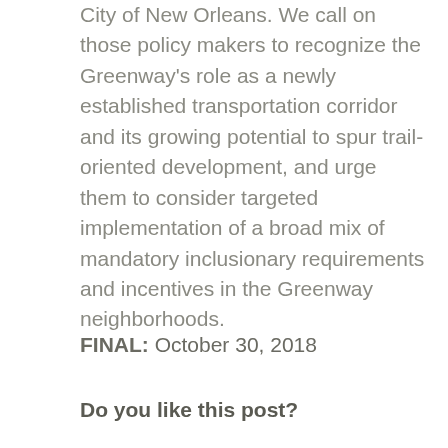City of New Orleans. We call on those policy makers to recognize the Greenway's role as a newly established transportation corridor and its growing potential to spur trail-oriented development, and urge them to consider targeted implementation of a broad mix of mandatory inclusionary requirements and incentives in the Greenway neighborhoods.
FINAL: October 30, 2018
Do you like this post?